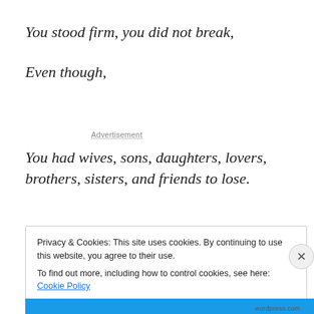You stood firm, you did not break,
Even though,
Advertisement
You had wives, sons, daughters, lovers, brothers, sisters, and friends to lose.
Privacy & Cookies: This site uses cookies. By continuing to use this website, you agree to their use. To find out more, including how to control cookies, see here: Cookie Policy
Close and accept